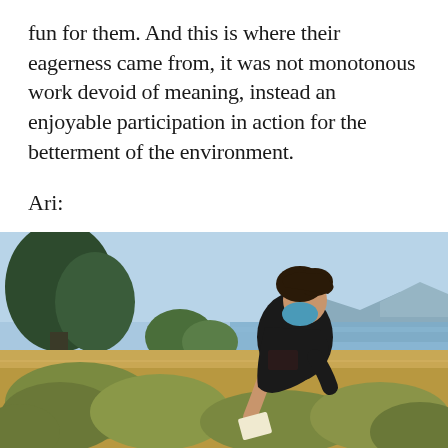fun for them. And this is where their eagerness came from, it was not monotonous work devoid of meaning, instead an enjoyable participation in action for the betterment of the environment.
Ari:
[Figure (photo): A young person wearing a black t-shirt and a blue face mask, bending over low-growing shrubs in a dry, grassy field near a bay or estuary. Trees are visible on the left, mountains and water in the background under a clear blue sky. The person appears to be conducting field research or environmental work, holding a notebook.]